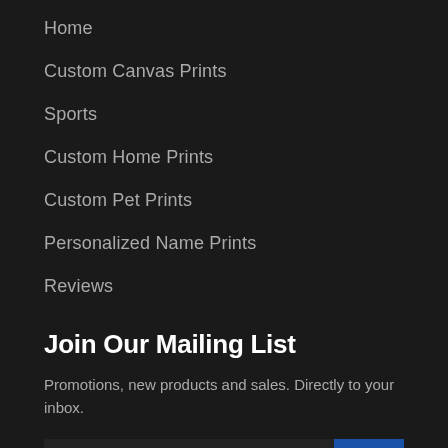Home
Custom Canvas Prints
Sports
Custom Home Prints
Custom Pet Prints
Personalized Name Prints
Reviews
Join Our Mailing List
Promotions, new products and sales. Directly to your inbox.
Your email